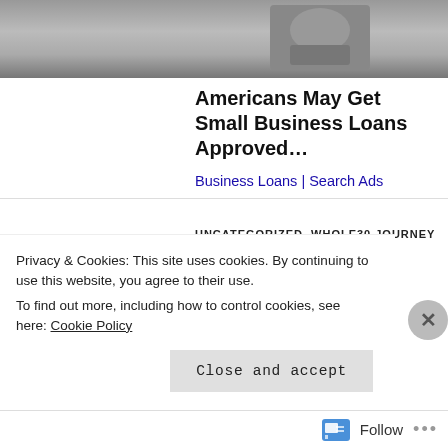[Figure (photo): Partial photo of hands, top of page, cropped]
Americans May Get Small Business Loans Approved…
Business Loans | Search Ads
UNCATEGORIZED, WHOLE30 JOURNEY
Day 10: Paranoia
Privacy & Cookies: This site uses cookies. By continuing to use this website, you agree to their use.
To find out more, including how to control cookies, see here: Cookie Policy
Close and accept
Follow ...